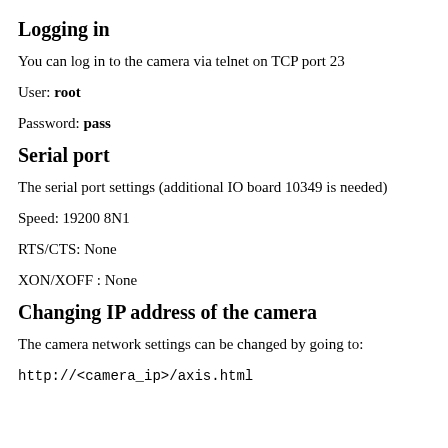Logging in
You can log in to the camera via telnet on TCP port 23
User: root
Password: pass
Serial port
The serial port settings (additional IO board 10349 is needed)
Speed: 19200 8N1
RTS/CTS: None
XON/XOFF : None
Changing IP address of the camera
The camera network settings can be changed by going to:
http://<camera_ip>/axis.html